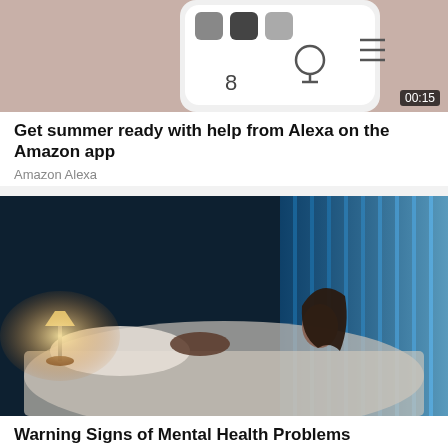[Figure (screenshot): Thumbnail of Amazon app with phone showing Alexa interface, duration badge 00:15]
Get summer ready with help from Alexa on the Amazon app
Amazon Alexa
[Figure (photo): Woman sitting up in bed at night with blue ambient light, man lying down, bedside lamp glowing warm]
Warning Signs of Mental Health Problems
Mental Health | Search Ads
[Figure (screenshot): Dark screenshot with quote mark and text: If Apple had a]